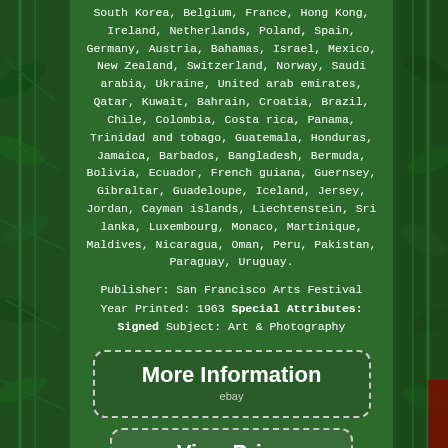South Korea, Belgium, France, Hong Kong, Ireland, Netherlands, Poland, Spain, Germany, Austria, Bahamas, Israel, Mexico, New Zealand, Switzerland, Norway, Saudi arabia, Ukraine, United arab emirates, Qatar, Kuwait, Bahrain, Croatia, Brazil, Chile, Colombia, Costa rica, Panama, Trinidad and tobago, Guatemala, Honduras, Jamaica, Barbados, Bangladesh, Bermuda, Bolivia, Ecuador, French guiana, Guernsey, Gibraltar, Guadeloupe, Iceland, Jersey, Jordan, Cayman islands, Liechtenstein, Sri lanka, Luxembourg, Monaco, Martinique, Maldives, Nicaragua, Oman, Peru, Pakistan, Paraguay, Uruguay.
Publisher: San Francisco Arts Festival Year Printed: 1963 Special Attributes: Signed Subject: Art & Photography
[Figure (other): Button with dashed border reading 'More Information' with eBay logo text below]
[Figure (other): Button with dashed border reading 'View Price' with eBay logo text below]